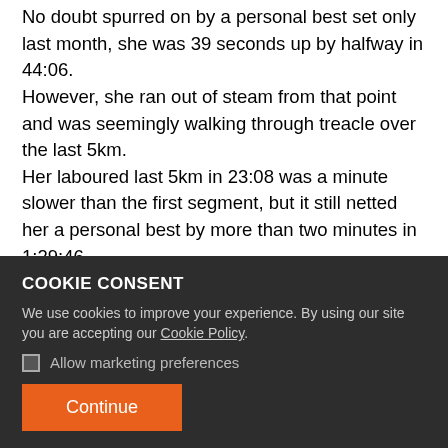No doubt spurred on by a personal best set only last month, she was 39 seconds up by halfway in 44:06. However, she ran out of steam from that point and was seemingly walking through treacle over the last 5km. Her laboured last 5km in 23:08 was a minute slower than the first segment, but it still netted her a personal best by more than two minutes in 1:29:46. Canada's Rachel Seaman was the only race walker outside Asia to reach the podium, going under 1:30:00 for the first time when finishing third in 1:29:54. Another 50 metres and it is likely she would have caught the struggling Okada.
COOKIE CONSENT
We use cookies to improve your experience. By using our site you are accepting our Cookie Policy.
Allow marketing preferences
Continue